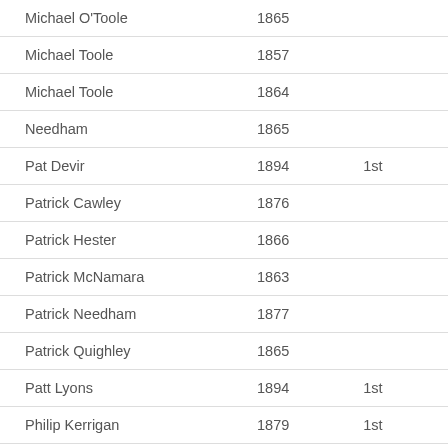| Michael O'Toole | 1865 |  |
| Michael Toole | 1857 |  |
| Michael Toole | 1864 |  |
| Needham | 1865 |  |
| Pat Devir | 1894 | 1st |
| Patrick Cawley | 1876 |  |
| Patrick Hester | 1866 |  |
| Patrick McNamara | 1863 |  |
| Patrick Needham | 1877 |  |
| Patrick Quighley | 1865 |  |
| Patt Lyons | 1894 | 1st |
| Philip Kerrigan | 1879 | 1st |
| Richard Abernethy | 1846 |  |